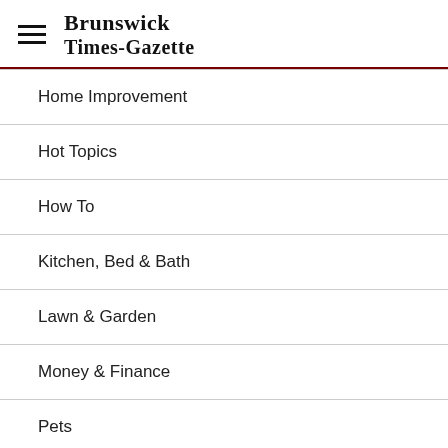Brunswick Times-Gazette
Home Improvement
Hot Topics
How To
Kitchen, Bed & Bath
Lawn & Garden
Money & Finance
Pets
Prnewswire
Real Estate